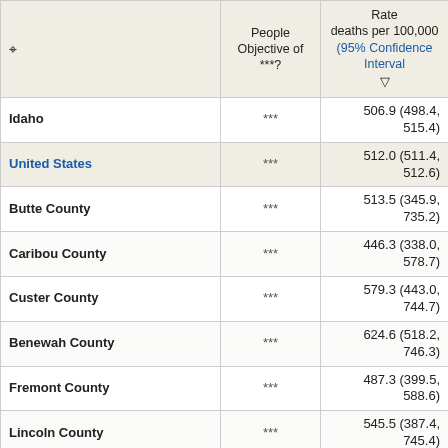|  | People Objective of ***? | Rate deaths per 100,000 (95% Confidence Interval) ▽ |
| --- | --- | --- |
| Idaho | *** | 506.9 (498.4, 515.4) |
| United States | *** | 512.0 (511.4, 512.6) |
| Butte County | *** | 513.5 (345.9, 735.2) |
| Caribou County | *** | 446.3 (338.0, 578.7) |
| Custer County | *** | 579.3 (443.0, 744.7) |
| Benewah County | *** | 624.6 (518.2, 746.3) |
| Fremont County | *** | 487.3 (399.5, 588.6) |
| Lincoln County | *** | 545.5 (387.4, 745.4) |
| Lewis County | *** | 476.4 (350.5, 634.3) |
| Nez Perce County | *** | 589.4 (538.6, 643.7) |
| Twin Falls County | *** | 541.5 (503.0, 582.1) |
| Bannock County | *** | 506.8 (467.4, 548.7) |
| Bingham County | *** | 502.6 (450.2, 559.4) |
| Canyon County | *** | 518.8 (493.1, 545.5) |